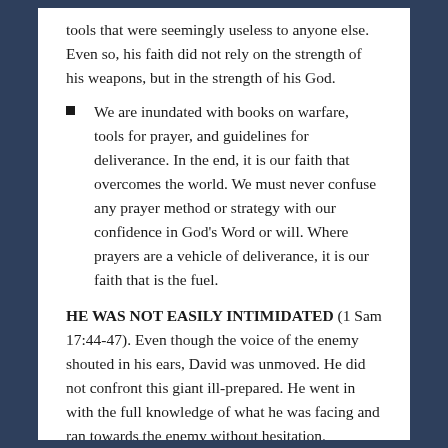tools that were seemingly useless to anyone else. Even so, his faith did not rely on the strength of his weapons, but in the strength of his God.
We are inundated with books on warfare, tools for prayer, and guidelines for deliverance. In the end, it is our faith that overcomes the world. We must never confuse any prayer method or strategy with our confidence in God's Word or will. Where prayers are a vehicle of deliverance, it is our faith that is the fuel.
HE WAS NOT EASILY INTIMIDATED (1 Sam 17:44-47). Even though the voice of the enemy shouted in his ears, David was unmoved. He did not confront this giant ill-prepared. He went in with the full knowledge of what he was facing and ran towards the enemy without hesitation.
The enemy will be relentless, and we must be prepared to face the constant threats and accusations. If we have filled our hearts and minds